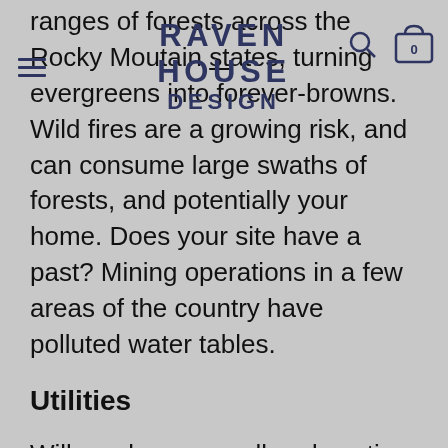RAVEN HOUSE DESIGN
ranges of forests across the Rocky Moutain states, turning evergreens into forever-browns. Wild fires are a growing risk, and can consume large swaths of forests, and potentially your home. Does your site have a past? Mining operations in a few areas of the country have polluted water tables.
Utilities
Will you be on a well and septic system or will your building site have access to public water, sewer and electrical or will you have to build “off the grid?” The cost of these has to be factored into your budget. Density can affect the price of this as well as the quality of